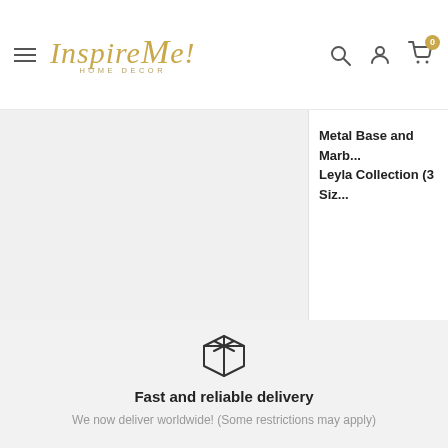Inspire Me! Home Decor — navigation header with search, account, and cart icons
Metal Base and Marb... Leyla Collection (3 Siz...
[Figure (illustration): Box/package icon representing fast and reliable delivery]
Fast and reliable delivery
We now deliver worldwide! (Some restrictions may apply)
[Figure (illustration): Return/shopping cart icon representing satisfaction guarantee]
Satisfaction Guaranteed
We are obsessed with your satisfaction.